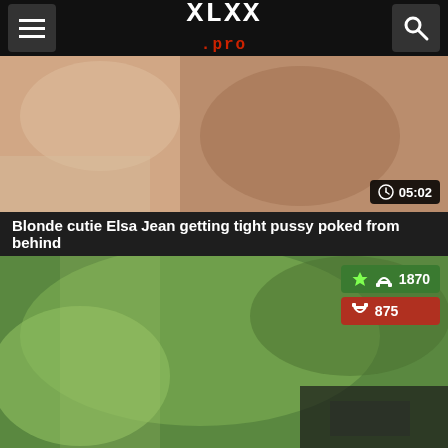XLXX.pro
[Figure (screenshot): Video thumbnail showing adult content]
05:02
Blonde cutie Elsa Jean getting tight pussy poked from behind
[Figure (screenshot): Second video thumbnail showing adult content]
1870
875